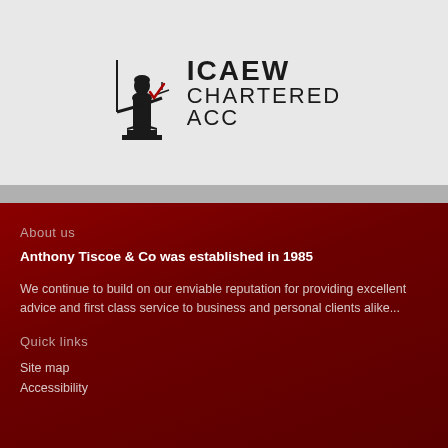[Figure (logo): ICAEW Chartered Accountants logo with a standing figure holding a staff and a red checkmark, alongside bold text reading ICAEW CHARTERED ACC]
About us
Anthony Tiscoe & Co was established in 1985
We continue to build on our enviable reputation for providing excellent advice and first class service to business and personal clients alike...
Quick links
Site map
Accessibility